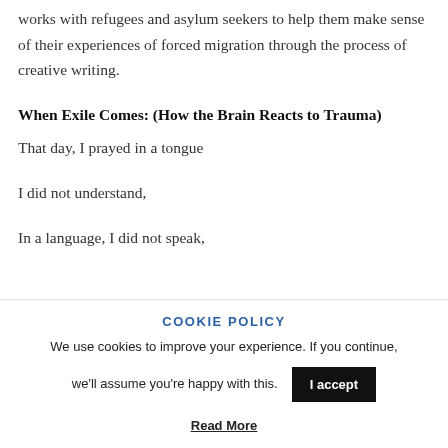works with refugees and asylum seekers to help them make sense of their experiences of forced migration through the process of creative writing.
When Exile Comes: (How the Brain Reacts to Trauma)
That day, I prayed in a tongue
I did not understand,
In a language, I did not speak,
COOKIE POLICY
We use cookies to improve your experience. If you continue, we'll assume you're happy with this.
I accept
Read More